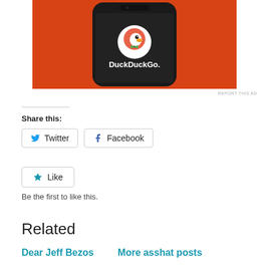[Figure (screenshot): DuckDuckGo mobile app advertisement showing a smartphone with DuckDuckGo logo and name on an orange background]
REPORT THIS AD
Share this:
Twitter
Facebook
Like
Be the first to like this.
Related
Dear Jeff Bezos
More asshat posts